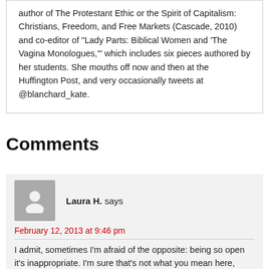author of The Protestant Ethic or the Spirit of Capitalism: Christians, Freedom, and Free Markets (Cascade, 2010) and co-editor of "Lady Parts: Biblical Women and 'The Vagina Monologues,'" which includes six pieces authored by her students. She mouths off now and then at the Huffington Post, and very occasionally tweets at @blanchard_kate.
Comments
Laura H. says
February 12, 2013 at 9:46 pm
I admit, sometimes I'm afraid of the opposite: being so open it's inappropriate. I'm sure that's not what you mean here, Kate, but I know of profs who share their personal problems or liberally give out "bear hugs." At what point are we TOO open?